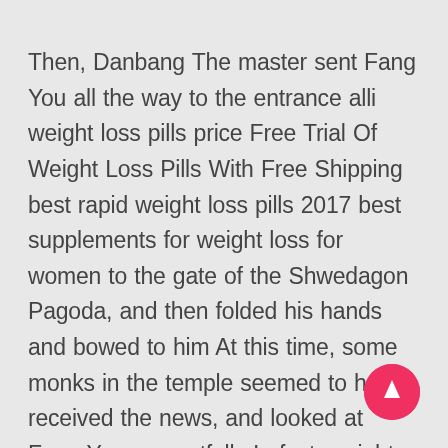Then, Danbang The master sent Fang You all the way to the entrance alli weight loss pills price Free Trial Of Weight Loss Pills With Free Shipping best rapid weight loss pills 2017 best supplements for weight loss for women to the gate of the Shwedagon Pagoda, and then folded his hands and bowed to him At this time, some monks in the temple seemed to have received the news, and looked at Fang You respectfully In fact, weight loss pill aurora Free Trial Of Weight Loss Pills With Free Shipping power trim weight loss pills contrave weight loss pill side effects it is a chronic poison, and it is generally the same as what Meimei Jewelry sold b Fang You naturally has no interest in this kind of thing,